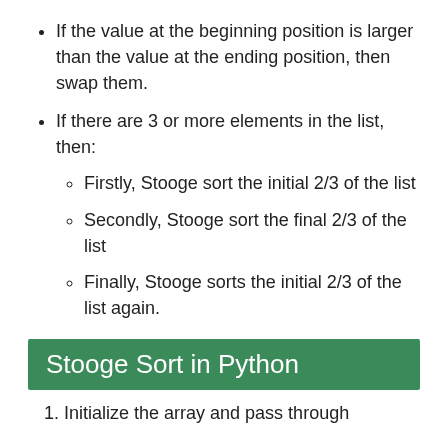If the value at the beginning position is larger than the value at the ending position, then swap them.
If there are 3 or more elements in the list, then:
Firstly, Stooge sort the initial 2/3 of the list
Secondly, Stooge sort the final 2/3 of the list
Finally, Stooge sorts the initial 2/3 of the list again.
Stooge Sort in Python
1. Initialize the array and pass through